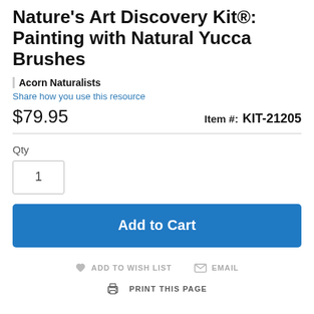Nature's Art Discovery Kit®: Painting with Natural Yucca Brushes
Acorn Naturalists
Share how you use this resource
$79.95    Item #:  KIT-21205
Qty
1
Add to Cart
ADD TO WISH LIST   EMAIL
PRINT THIS PAGE